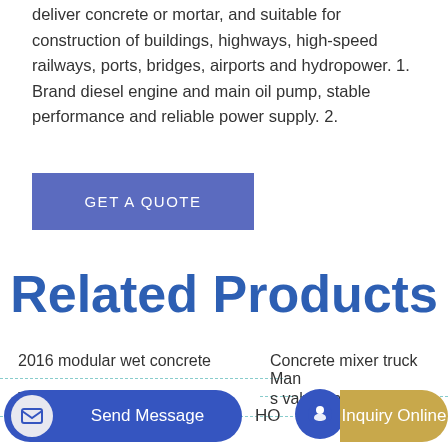deliver concrete or mortar, and suitable for construction of buildings, highways, high-speed railways, ports, bridges, airports and hydropower. 1. Brand diesel engine and main oil pump, stable performance and reliable power supply. 2.
GET A QUOTE
Related Products
2016 modular wet concrete
Concrete mixer truck Man
Talenet 40 Diesel Concrete
s valve concrete pump
Send Message
HO
Inquiry Online